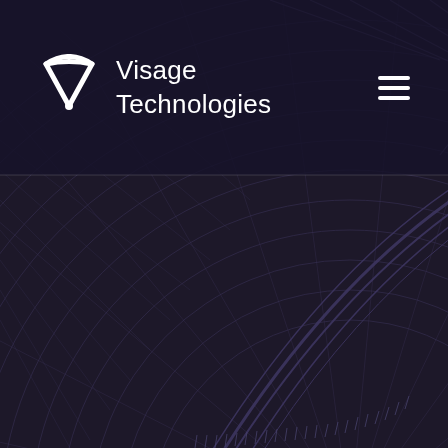[Figure (illustration): Dark navy/purple abstract background with concentric arc grid lines resembling a technical or radar-style engineering diagram, rendered in muted purple tones on dark background.]
Visage Technologies
[Figure (logo): Visage Technologies logo: white V-shaped checkmark/arrow icon with company name 'Visage Technologies' in white text to the right.]